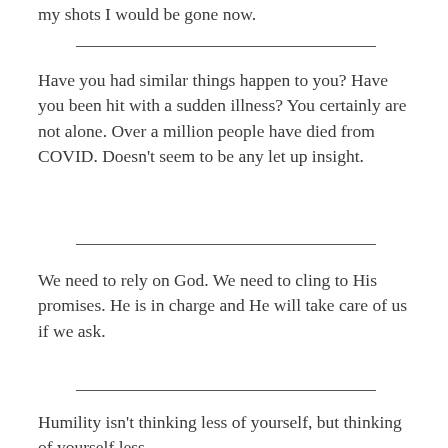my shots I would be gone now.
Have you had similar things happen to you? Have you been hit with a sudden illness? You certainly are not alone. Over a million people have died from COVID. Doesn’t seem to be any let up insight.
We need to rely on God. We need to cling to His promises. He is in charge and He will take care of us if we ask.
Humility isn’t thinking less of yourself, but thinking of yourself less.
C.S. Lewis